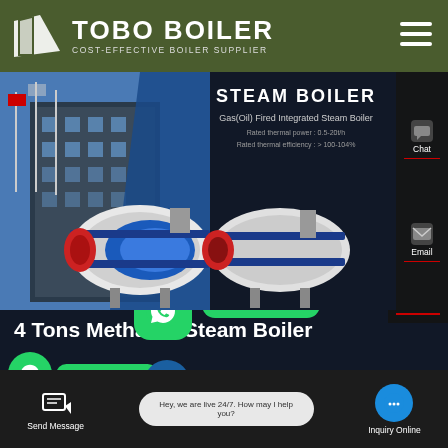[Figure (screenshot): Tobo Boiler website screenshot showing company logo with green header, steam boiler product page with boiler images, and mobile UI elements including WhatsApp chat buttons, contact buttons, and bottom navigation bar.]
TOBO BOILER
COST-EFFECTIVE BOILER SUPPLIER
STEAM BOILER
Gas(Oil) Fired Integrated Steam Boiler
Rated thermal power : 0.5-20t/h
Rated thermal efficiency : > 100-104%
Chat
Email
4 Tons Methanol Steam Boiler
Contact us now!
Contact us now!
Contact
Hey, we are live 24/7. How may I help you?
Send Message
Inquiry Online